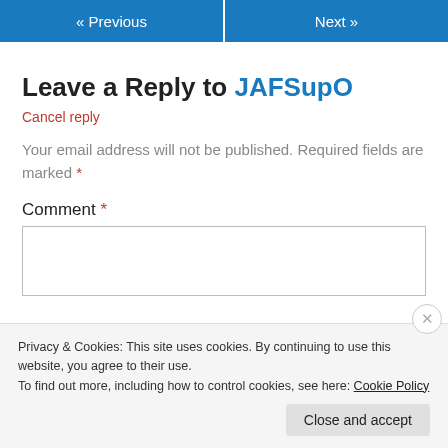« Previous   Next »
Leave a Reply to JAFSupO
Cancel reply
Your email address will not be published. Required fields are marked *
Comment *
Privacy & Cookies: This site uses cookies. By continuing to use this website, you agree to their use.
To find out more, including how to control cookies, see here: Cookie Policy